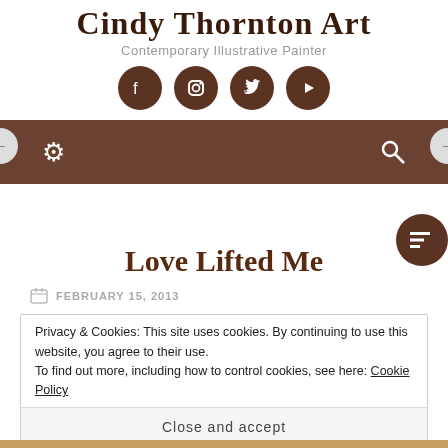Cindy Thornton Art
Contemporary Illustrative Painter
[Figure (other): Social media icons: Facebook, Instagram, Twitter, YouTube - brown circles with white icons]
[Figure (other): Brown navigation bar with gear/settings icon on left and search icon on right, with a menu toggle circle below center]
Love Lifted Me
FEBRUARY 15, 2013
Privacy & Cookies: This site uses cookies. By continuing to use this website, you agree to their use.
To find out more, including how to control cookies, see here: Cookie Policy
Close and accept
available in my Etsy Shop: